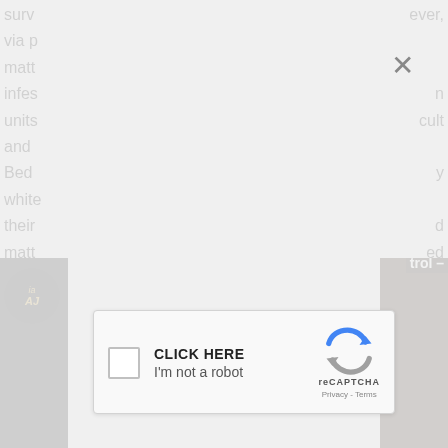surv
via p
matt
infes
units
and
Bed
white
their
matt
on p
lugg
hum
ever,
n
cult
y
d
ed
on
[Figure (screenshot): reCAPTCHA modal dialog with 'CLICK HERE' text, checkbox, 'I'm not a robot' label, reCAPTCHA logo, Privacy and Terms links, and a close (X) button in the top right of the overlay.]
[Figure (photo): Dark image strips at bottom left and bottom right of the page, partially visible behind the modal overlay. Left strip shows a circular logo with 'AJ' text. Right strip shows text 'trol -' on dark background.]